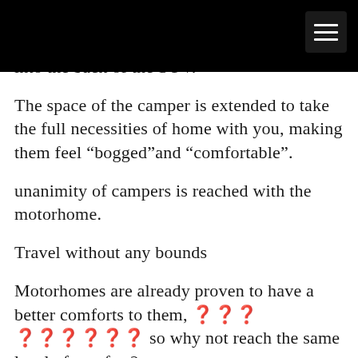into the back of the SUV.
The space of the camper is extended to take the full necessities of home with you, making them feel “bogged”and “comfortable”.
unanimity of campers is reached with the motorhome.
Travel without any bounds
Motorhomes are already proven to have a better comforts to them, ❓❓❓ ❓❓❓❓❓❓ so why not reach the same level of comfort?